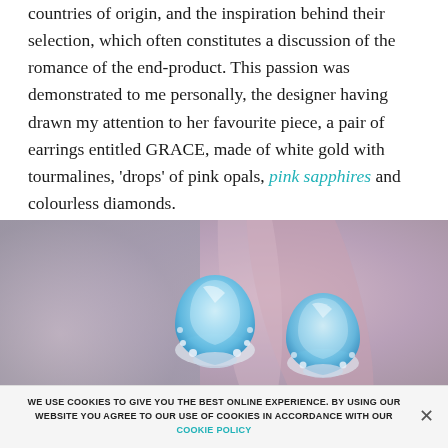countries of origin, and the inspiration behind their selection, which often constitutes a discussion of the romance of the end-product. This passion was demonstrated to me personally, the designer having drawn my attention to her favourite piece, a pair of earrings entitled GRACE, made of white gold with tourmalines, 'drops' of pink opals, pink sapphires and colourless diamonds.
[Figure (photo): Close-up photo of a pair of blue gemstone earrings (teardrop/pear-shaped aquamarine or blue tourmaline stones with diamond halos) against a blurred pink and grey background.]
WE USE COOKIES TO GIVE YOU THE BEST ONLINE EXPERIENCE. BY USING OUR WEBSITE YOU AGREE TO OUR USE OF COOKIES IN ACCORDANCE WITH OUR COOKIE POLICY